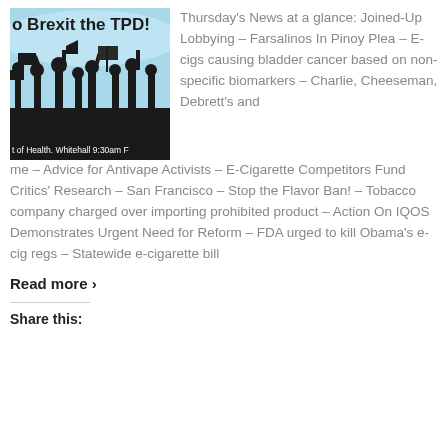[Figure (photo): Protest image showing silhouettes of people with raised fists and signs against a light blue background, with text 'o Brexit the TPD!' at top and 't of Health. Whitehall 9:30am F' partially visible at bottom]
Thursday's News at a glance: Joined-Up Lobbying – Farsalinos In Pinoy Plea – E-cigs causing bladder cancer based on non-specific biomarkers – Charlie, Cheeseman, Debrett's and me – Advice for Antivape Activists – E-Cigarette Competitors Fund Critics' Research – San Francisco – Stop the Flavor Ban! – Tobacco company charged over importing prohibited product – Action On IQOS Demonstrates Urgent Need for Reform – FDA urged to kill Obama's e-cig regs – Statewide e-cigarette bill
Read more ›
Share this: